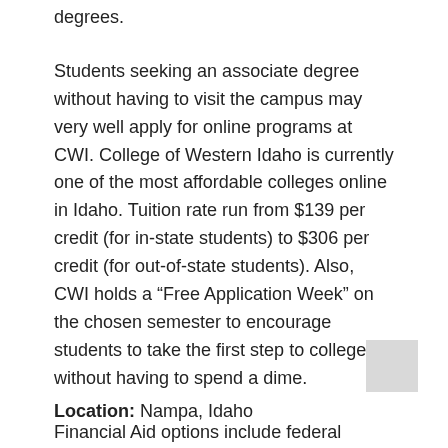degrees.
Students seeking an associate degree without having to visit the campus may very well apply for online programs at CWI. College of Western Idaho is currently one of the most affordable colleges online in Idaho. Tuition rate run from $139 per credit (for in-state students) to $306 per credit (for out-of-state students). Also, CWI holds a “Free Application Week” on the chosen semester to encourage students to take the first step to college without having to spend a dime.
Financial Aid options include federal grants, scholarships, student and parent loans, and work-study programs.
Location: Nampa, Idaho